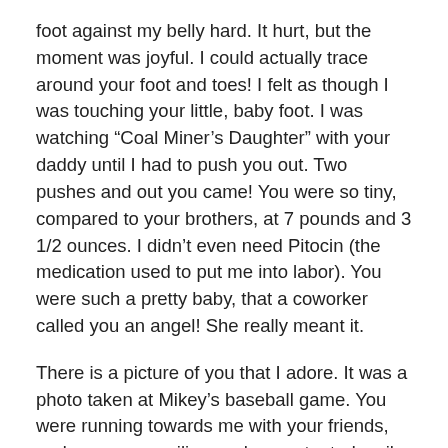foot against my belly hard. It hurt, but the moment was joyful. I could actually trace around your foot and toes! I felt as though I was touching your little, baby foot. I was watching “Coal Miner’s Daughter” with your daddy until I had to push you out. Two pushes and out you came! You were so tiny, compared to your brothers, at 7 pounds and 3 1/2 ounces. I didn’t even need Pitocin (the medication used to put me into labor). You were such a pretty baby, that a coworker called you an angel! She really meant it.
There is a picture of you that I adore. It was a photo taken at Mikey’s baseball game. You were running towards me with your friends, and you were smiling such a contented smile that makes me overjoyed when I see the picture. It, right now, lives in one of my scrapbooking folders.
I call you my strawberry girl because you were born during the month when the strawberries are ripe and ready to be